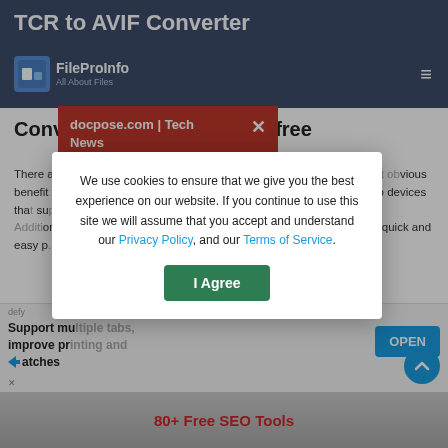TCR to AVIF Converter
Convert tcr to avif online & free
There are many reasons to convert a tcr file to AVIF. Perhaps the most obvious benefit is that AVIF can be read on any device, whereas a tcr is limited to devices that support it. Converting a TCR to AVIF also... AVIF files tend to be... Additionally, if you want to... can be much easier... TCR format. Fin... a quick and easy p... free using
[Figure (infographic): Red advertisement popup: docpose.com | Tech News with X close button and 'Introducing Our' text]
[Figure (infographic): Cookie consent modal: 'We use cookies to ensure that we give you the best experience on our website. If you continue to use this site we will assume that you accept and understand our Privacy Policy, and our Terms of Service.' with I Agree button]
defy
Support mu... improve pri... atches
[Figure (screenshot): Bottom banner image with '80+ Free SEO Tools' text]